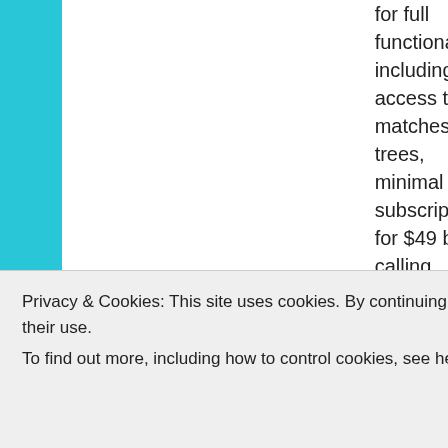|  | for full functionality including access to matches' trees, minimal subscription for $49 by calling Ancestry | for full functional... |
| Other Relevant Tools | New Ancestor Discoveries |  |
Privacy & Cookies: This site uses cookies. By continuing to use this website, you agree to their use.
To find out more, including how to control cookies, see here: Cookie Policy